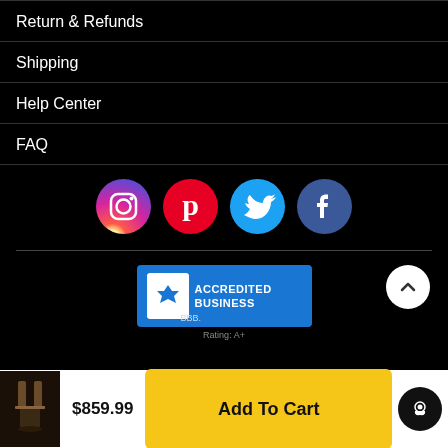Return & Refunds
Shipping
Help Center
FAQ
[Figure (logo): Social media icons: Instagram, Pinterest, Twitter, Facebook]
[Figure (logo): BBB Accredited Business badge, Rating: A+]
$859.99
Add To Cart